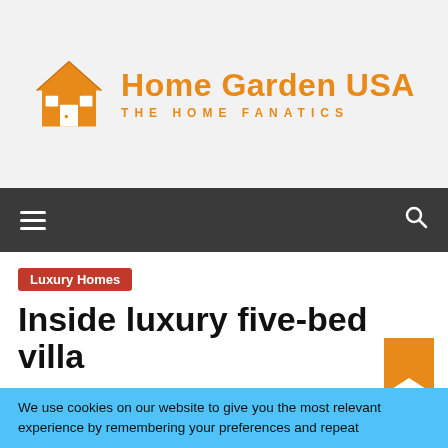[Figure (logo): Home Garden USA logo with orange house icon and text 'Home Garden USA / THE HOME FANATICS']
Navigation bar with hamburger menu and search icon
Luxury Homes
Inside luxury five-bed villa
We use cookies on our website to give you the most relevant experience by remembering your preferences and repeat